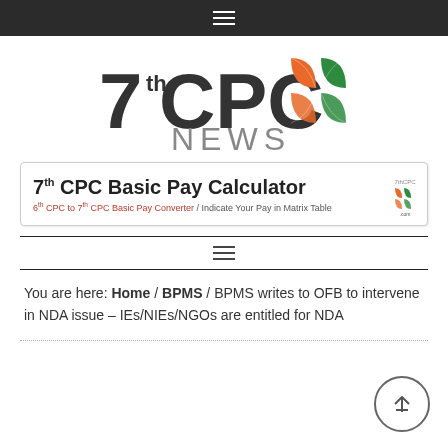[Figure (logo): 7th CPC NEWS logo with orange and green leaf/petal icon]
[Figure (screenshot): 7th CPC Basic Pay Calculator banner — 6th CPC to 7th CPC Basic Pay Converter / Indicate Your Pay in Matrix Table]
You are here: Home / BPMS / BPMS writes to OFB to intervene in NDA issue – IEs/NIEs/NGOs are entitled for NDA